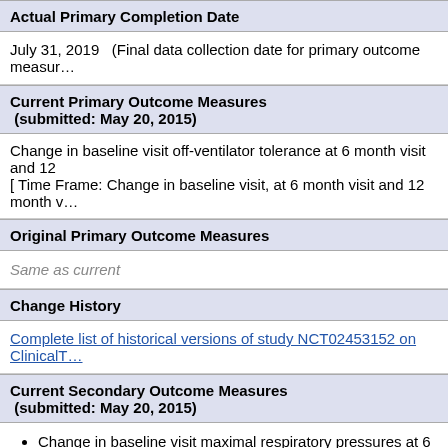Actual Primary Completion Date
July 31, 2019   (Final data collection date for primary outcome measure…
Current Primary Outcome Measures (submitted: May 20, 2015)
Change in baseline visit off-ventilator tolerance at 6 month visit and 12… [ Time Frame: Change in baseline visit, at 6 month visit and 12 month v…
Original Primary Outcome Measures
Same as current
Change History
Complete list of historical versions of study NCT02453152 on ClinicalT…
Current Secondary Outcome Measures (submitted: May 20, 2015)
Change in baseline visit maximal respiratory pressures at 6 mo… month visit. [ Time Frame: Change in baseline visit, at 6 month… month visit ]